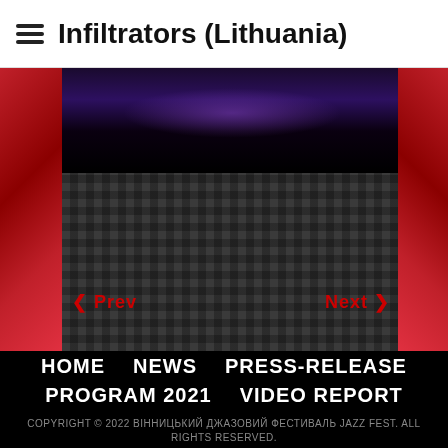Infiltrators (Lithuania)
[Figure (screenshot): Carousel image area with dark checkered background, red decorative panels on sides, a dark purple/black image at the top center, and red Prev/Next navigation buttons]
HOME  NEWS  PRESS-RELEASE  PROGRAM 2021  VIDEO REPORT
COPYRIGHT © 2022 ВІННИЦЬКИЙ ДЖАЗОВИЙ ФЕСТИВАЛЬ JAZZ FEST. ALL RIGHTS RESERVED.